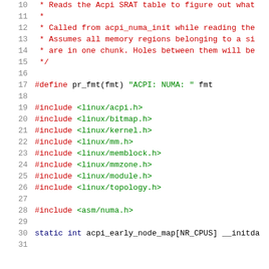Source code listing, lines 10-31, C header file with ACPI NUMA includes
10  * Reads the Acpi SRAT table to figure out what
11  *
12  * Called from acpi_numa_init while reading the
13  * Assumes all memory regions belonging to a si
14  * are in one chunk. Holes between them will be
15  */
16
17  #define pr_fmt(fmt) "ACPI: NUMA: " fmt
18
19  #include <linux/acpi.h>
20  #include <linux/bitmap.h>
21  #include <linux/kernel.h>
22  #include <linux/mm.h>
23  #include <linux/memblock.h>
24  #include <linux/mmzone.h>
25  #include <linux/module.h>
26  #include <linux/topology.h>
27
28  #include <asm/numa.h>
29
30  static int acpi_early_node_map[NR_CPUS] __initda
31